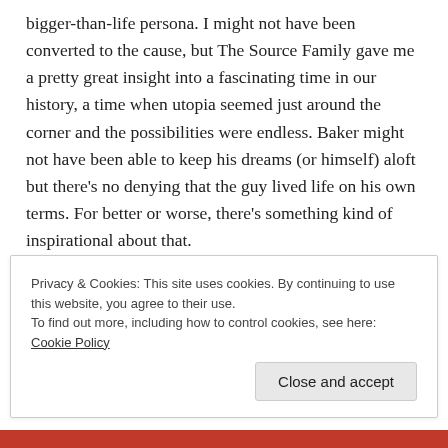bigger-than-life persona. I might not have been converted to the cause, but The Source Family gave me a pretty great insight into a fascinating time in our history, a time when utopia seemed just around the corner and the possibilities were endless. Baker might not have been able to keep his dreams (or himself) aloft but there's no denying that the guy lived life on his own terms. For better or worse, there's something kind of inspirational about that.
Privacy & Cookies: This site uses cookies. By continuing to use this website, you agree to their use. To find out more, including how to control cookies, see here: Cookie Policy